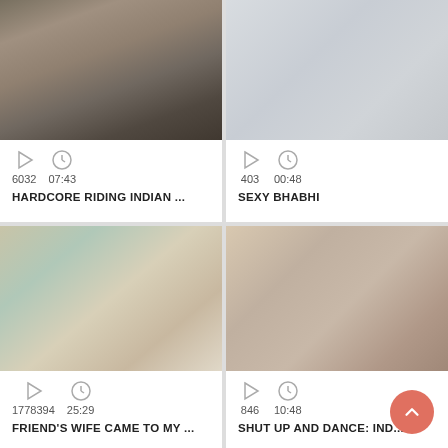[Figure (photo): Video thumbnail showing two people in a room]
6032   07:43
HARDCORE RIDING INDIAN ...
[Figure (photo): Blurry light grey background video thumbnail]
403   00:48
SEXY BHABHI
[Figure (photo): Video thumbnail showing a woman on phone in colorful dress]
1778394   25:29
FRIEND'S WIFE CAME TO MY ...
[Figure (photo): Video thumbnail showing a woman with black hair]
846   10:48
SHUT UP AND DANCE: IND...